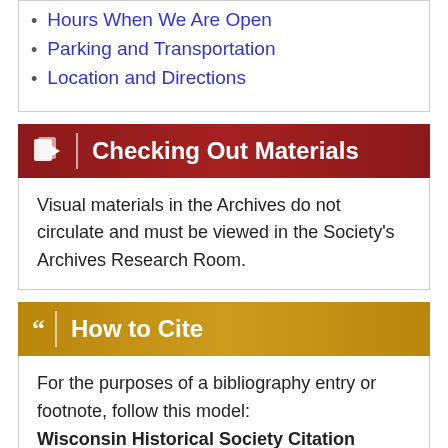Hours When We Are Open
Parking and Transportation
Location and Directions
Checking Out Materials
Visual materials in the Archives do not circulate and must be viewed in the Society's Archives Research Room.
How to Cite
For the purposes of a bibliography entry or footnote, follow this model:
Wisconsin Historical Society Citation
Wisconsin Historical Society, Creator, Title, Image ID. Viewed online at (copy